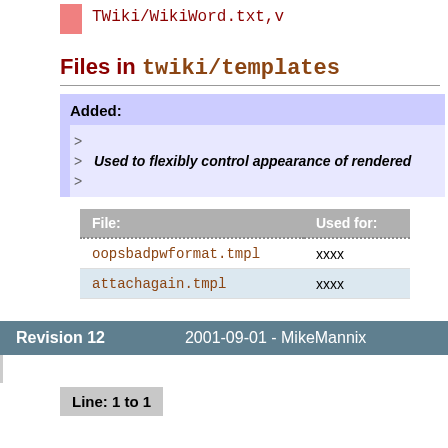TWiki/WikiWord.txt,v
Files in twiki/templates
Added:
Used to flexibly control appearance of rendered
| File: | Used for: |
| --- | --- |
| oopsbadpwformat.tmpl | xxxx |
| attachagain.tmpl | xxxx |
Revision 12    2001-09-01 - MikeMannix
Line: 1 to 1